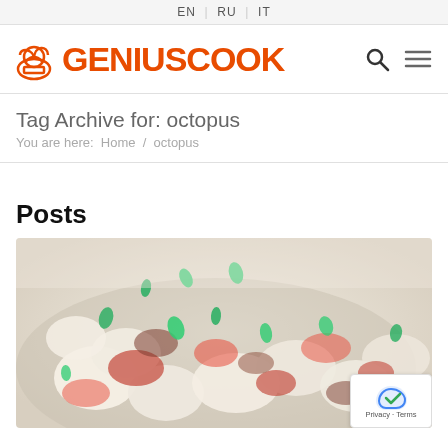EN | RU | IT
[Figure (logo): GeniusCook logo with chef hat icon in orange and the text GENIUSCOOK in large orange uppercase letters, with search and hamburger menu icons on the right]
Tag Archive for: octopus
You are here: Home / octopus
Posts
[Figure (photo): Close-up photo of a cooked octopus dish with tomatoes and fresh green herbs/parsley]